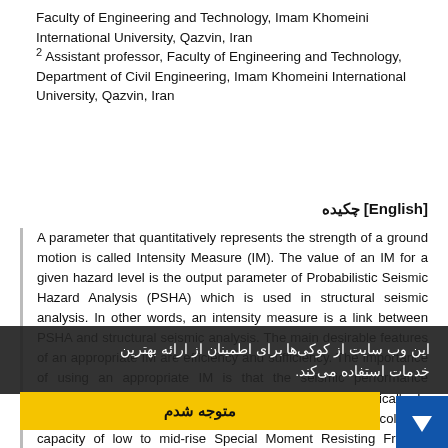Faculty of Engineering and Technology, Imam Khomeini International University, Qazvin, Iran
2 Assistant professor, Faculty of Engineering and Technology, Department of Civil Engineering, Imam Khomeini International University, Qazvin, Iran
چکیده [English]
A parameter that quantitatively represents the strength of a ground motion is called Intensity Measure (IM). The value of an IM for a given hazard level is the output parameter of Probabilistic Seismic Hazard Analysis (PSHA) which is used in structural seismic analysis. In other words, an intensity measure is a link between PSHA and structural seismic analysis. The main desirable features of an appropriate IM are efficiency and sufficiency. The importance of using an appropriate IM is that the seismic performance assessment of structures can be performed more realistically. In this study, the ability of different scalar IMs to predict the collapse capacity of low to mid-rise Special Moment Resisting Frames (SMRFs) was evaluated. For this purpose, 3, 6 and 9-story steel SMRFs designed for the SAC project were simulated by OpenSees and the collapse capacities of these structures were determined by using incremental dynamic analyses under 67 far-field ground motion records. A